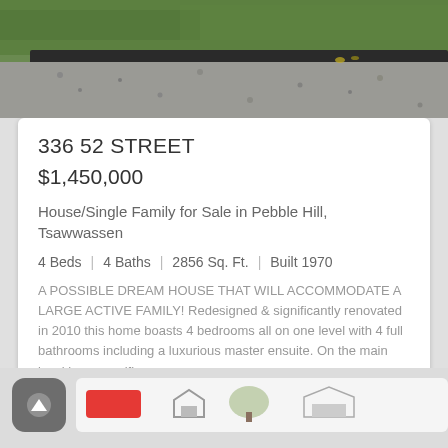[Figure (photo): Top portion of a house photo showing grass lawn, gravel driveway and dark roof edge]
336 52 STREET
$1,450,000
House/Single Family for Sale in Pebble Hill, Tsawwassen
4 Beds | 4 Baths | 2856 Sq. Ft. | Built 1970
A POSSIBLE DREAM HOUSE THAT WILL ACCOMMODATE A LARGE ACTIVE FAMILY! Redesigned & significantly renovated in 2010 this home boasts 4 bedrooms all on one level with 4 full bathrooms including a luxurious master ensuite. On the main level is a magnifice ...
RE/MAX PROGROUP REALTY (R2221105)
[Figure (screenshot): Bottom navigation bar with up arrow button and partial preview of next listing]